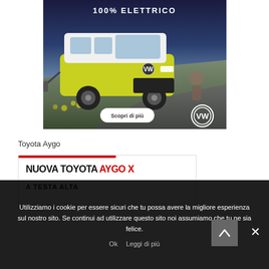[Figure (photo): VW electric bus (ID.Buzz) ad with text '100% ELETTRICO', yellow-green bus in sunset landscape, 'Scopri di più' button, VW logo]
Toyota Aygo
[Figure (photo): Toyota Aygo X advertisement: 'NUOVA TOYOTA AYGO X' in black and red, 'A TESTA ALTA' subtitle, red bar at top]
Utilizziamo i cookie per essere sicuri che tu possa avere la migliore esperienza sul nostro sito. Se continui ad utilizzare questo sito noi assumiamo che tu ne sia felice.
Ok   Leggi di più